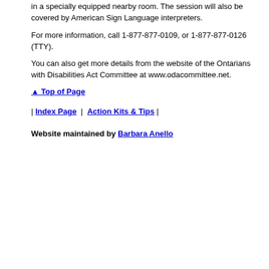in a specially equipped nearby room. The session will also be covered by American Sign Language interpreters.
For more information, call 1-877-877-0109, or 1-877-877-0126 (TTY).
You can also get more details from the website of the Ontarians with Disabilities Act Committee at www.odacommittee.net.
▲ Top of Page
| Index Page | Action Kits & Tips |
Website maintained by Barbara Anello